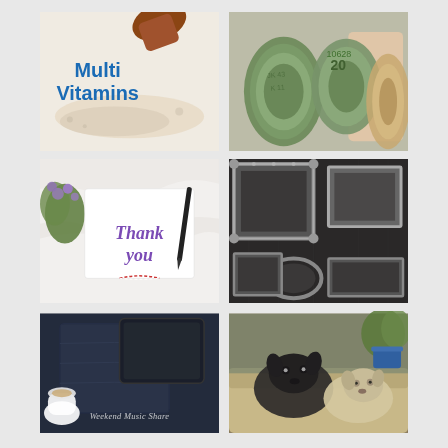[Figure (photo): Multi Vitamins promotional image with brown supplement bottle, spilled white powder, and blue bold text reading 'Multi Vitamins']
[Figure (photo): Rolled up US dollar bills on light purple/lavender background, showing $20 bills with serial numbers JK43, K11, 10628]
[Figure (photo): Thank You card in purple cursive handwriting on white card, with black marker pen, red and white twine, on white marble background with purple flowers]
[Figure (photo): Collection of ornate silver and grey vintage picture frames arranged on dark wooden background]
[Figure (photo): Weekend Music Share - dark blue/grey background with coffee cup, notebook and tablet, text 'Weekend Music Share' in italic white font]
[Figure (photo): Two dogs (a dark/black dog and a light/cream colored dog) lying together on a beige couch/dog bed with green plant and blue pot in background]